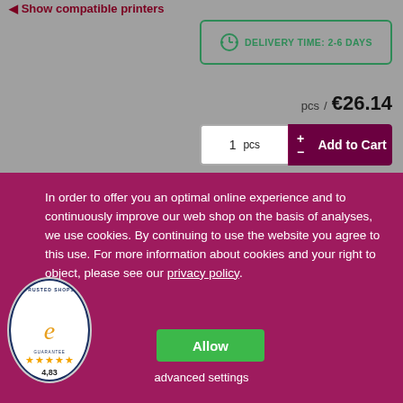Show compatible printers
DELIVERY TIME: 2-6 DAYS
pcs / €26.14
1 pcs  +  −  Add to Cart
In order to offer you an optimal online experience and to continuously improve our web shop on the basis of analyses, we use cookies. By continuing to use the website you agree to this use. For more information about cookies and your right to object, please see our privacy policy.
Allow
advanced settings